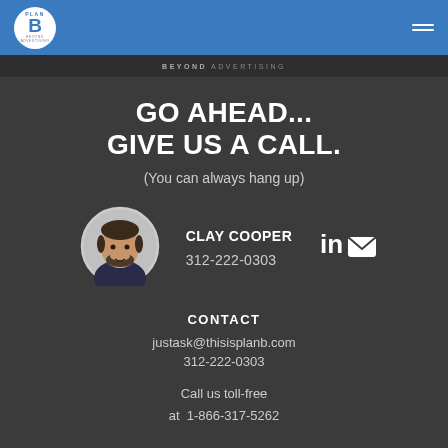[Figure (logo): Plan B Beyond Advertising logo - circular logo with 'PLAN B' text and blue background, in header bar]
BEYOND ADVERTISING
GO AHEAD... GIVE US A CALL.
(You can always hang up)
[Figure (photo): Circular headshot photo of Clay Cooper, a man with dark hair and beard wearing a dark shirt]
CLAY COOPER
312-222-0303
[Figure (logo): LinkedIn and email icons side by side in white]
CONTACT
justask@thisisplanb.com
312-222-0303
Call us toll-free
at  1-866-317-5262